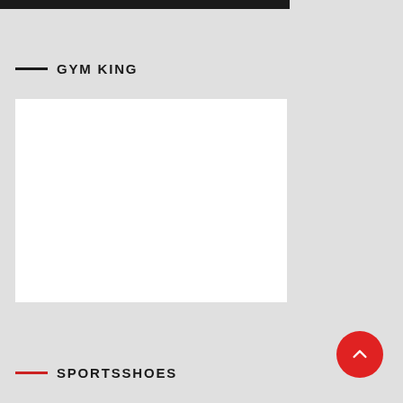[Figure (other): Dark/black decorative bar at the top of the page]
GYM KING
[Figure (other): White blank product image placeholder box]
SPORTSSHOES
[Figure (other): Red circular scroll-to-top button with upward chevron arrow]